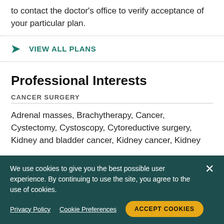to contact the doctor's office to verify acceptance of your particular plan.
VIEW ALL PLANS
Professional Interests
CANCER SURGERY
Adrenal masses, Brachytherapy, Cancer, Cystectomy, Cystoscopy, Cytoreductive surgery, Kidney and bladder cancer, Kidney cancer, Kidney
We use cookies to give you the best possible user experience. By continuing to use the site, you agree to the use of cookies.
Privacy Policy   Cookie Preferences   ACCEPT COOKIES